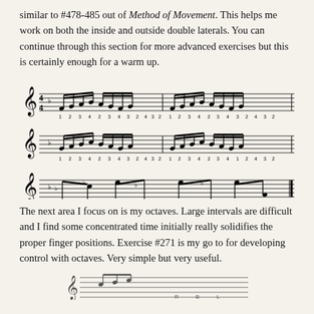similar to #478-485 out of Method of Movement. This helps me work on both the inside and outside double laterals. You can continue through this section for more advanced exercises but this is certainly enough for a warm up.
[Figure (illustration): Three rows of musical notation showing finger exercises with numbered fingerings (1-4) below the notes, written in treble clef with a flat key signature.]
The next area I focus on is my octaves. Large intervals are difficult and I find some concentrated time initially really solidifies the proper finger positions. Exercise #271 is my go to for developing control with octaves. Very simple but very useful.
[Figure (illustration): Bottom portion of a musical score showing the beginning of Exercise #271 for octave practice.]